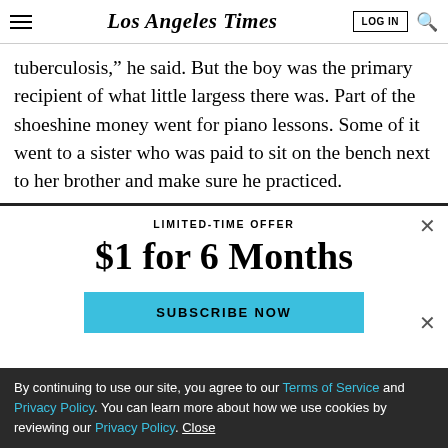Los Angeles Times — LOG IN [search icon]
tuberculosis,” he said. But the boy was the primary recipient of what little largess there was. Part of the shoeshine money went for piano lessons. Some of it went to a sister who was paid to sit on the bench next to her brother and make sure he practiced.
LIMITED-TIME OFFER
$1 for 6 Months
SUBSCRIBE NOW
By continuing to use our site, you agree to our Terms of Service and Privacy Policy. You can learn more about how we use cookies by reviewing our Privacy Policy. Close